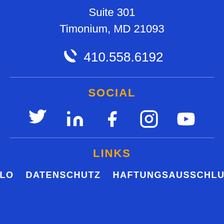Suite 301
Timonium, MD 21093
410.558.6192
SOCIAL
[Figure (infographic): Row of social media icons: Twitter, LinkedIn, Facebook, Instagram, YouTube]
LINKS
VĀLO   DATENSCHUTZ   HAFTUNGSAUSSCHLUSS